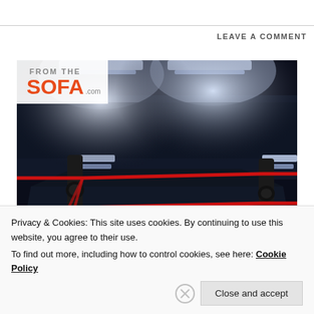LEAVE A COMMENT
[Figure (photo): Boxing ring with red ropes and bright stadium lights illuminating the arena, with From The Sofa logo watermark in upper left corner]
Privacy & Cookies: This site uses cookies. By continuing to use this website, you agree to their use.
To find out more, including how to control cookies, see here: Cookie Policy
Close and accept